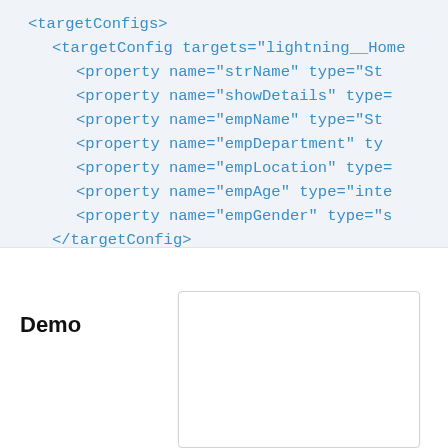<targetConfigs>
    <targetConfig targets="lightning__Home
        <property name="strName" type="St
        <property name="showDetails" type=
        <property name="empName" type="St
        <property name="empDepartment" ty
        <property name="empLocation" type=
        <property name="empAge" type="inte
        <property name="empGender" type="s
    </targetConfig>
</targetConfigs>

</LightningComponentBundle>
Demo
[Figure (screenshot): A white rounded rectangle representing a demo UI panel or screenshot area]